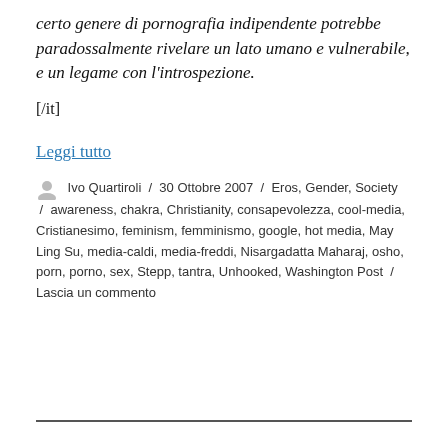certo genere di pornografia indipendente potrebbe paradossalmente rivelare un lato umano e vulnerabile, e un legame con l'introspezione.
[/it]
Leggi tutto
Ivo Quartiroli / 30 Ottobre 2007 / Eros, Gender, Society / awareness, chakra, Christianity, consapevolezza, cool-media, Cristianesimo, feminism, femminismo, google, hot media, May Ling Su, media-caldi, media-freddi, Nisargadatta Maharaj, osho, porn, porno, sex, Stepp, tantra, Unhooked, Washington Post / Lascia un commento